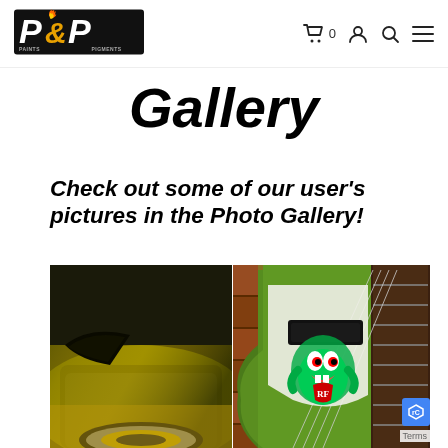[Figure (logo): P&P Pigments logo with stylized text and flame design]
[Figure (other): Navigation icons: shopping cart with 0, user/account icon, search icon, hamburger menu icon]
Gallery
Check out some of our user's pictures in the Photo Gallery!
[Figure (photo): Close-up of a car's front bumper and wheel with gold chrome wheels, painted in a golden-green color-shifting paint]
[Figure (photo): Green metallic sparkle painted guitar (bass guitar) with Rat Fink character graphic on the body, viewed from the front]
Terms